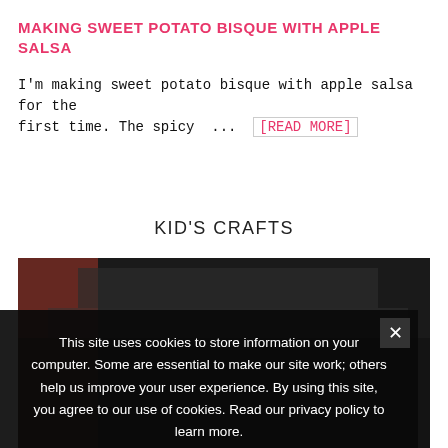MAKING SWEET POTATO BISQUE WITH APPLE SALSA
I'm making sweet potato bisque with apple salsa for the first time. The spicy ... [READ MORE]
KID'S CRAFTS
[Figure (photo): Dark photo of a kid's crafts scene]
This site uses cookies to store information on your computer. Some are essential to make our site work; others help us improve your user experience. By using this site, you agree to our use of cookies. Read our privacy policy to learn more.

❯ Privacy Preferences

I Agree